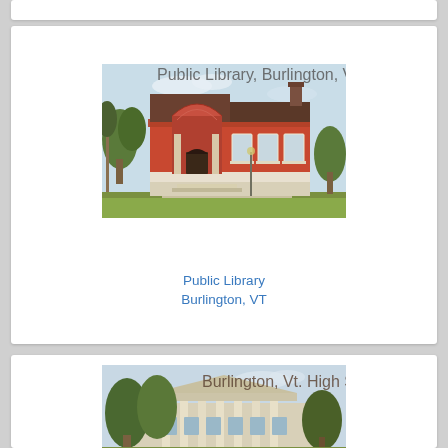[Figure (photo): Vintage postcard photograph of the Public Library building in Burlington, VT. A red brick Carnegie-style library building with ornate entrance arch, multiple windows, and a chimney, surrounded by trees and lawn.]
Public Library
Burlington, VT
[Figure (photo): Vintage postcard photograph of Burlington, VT High School. A large neoclassical building with columns visible through trees in the foreground. Text on postcard reads 'Burlington, Vt. High School'.]